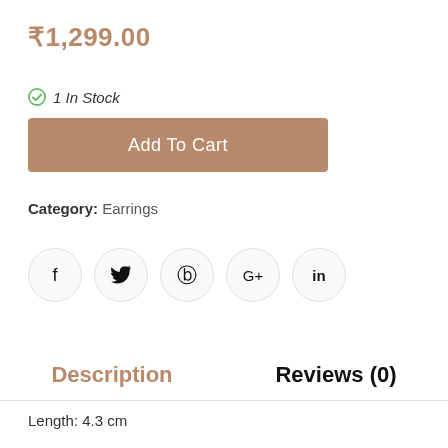₹1,299.00
1 In Stock
Add To Cart
Category: Earrings
[Figure (infographic): Row of 5 social media icon circles: Facebook (f), Twitter (bird), Pinterest (p), Google+ (G+), LinkedIn (in)]
Description
Reviews (0)
Length: 4.3 cm